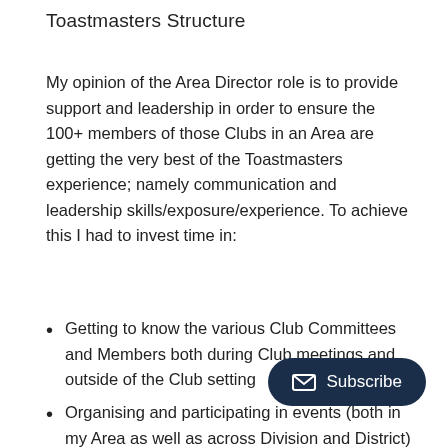Toastmasters Structure
My opinion of the Area Director role is to provide support and leadership in order to ensure the 100+ members of those Clubs in an Area are getting the very best of the Toastmasters experience; namely communication and leadership skills/exposure/experience. To achieve this I had to invest time in:
Getting to know the various Club Committees and Members both during Club meetings and outside of the Club setting
Organising and participating in events (both in my Area as well as across Division and District)